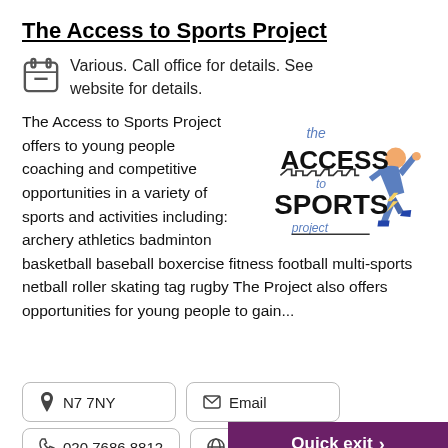The Access to Sports Project
Various. Call office for details. See website for details.
[Figure (logo): The Access to Sports Project logo: text 'the ACCESS to SPORTS project' with a running figure in blue and orange]
The Access to Sports Project offers to young people coaching and competitive opportunities in a variety of sports and activities including: archery athletics badminton basketball baseball boxercise fitness football multi-sports netball roller skating tag rugby The Project also offers opportunities for young people to gain...
N7 7NY
Email
020 7686 8812
Website
Quick exit >